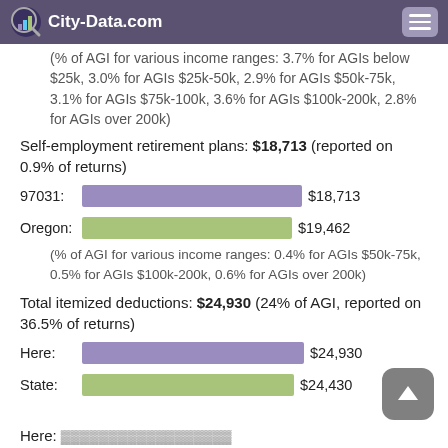City-Data.com
(% of AGI for various income ranges: 3.7% for AGIs below $25k, 3.0% for AGIs $25k-50k, 2.9% for AGIs $50k-75k, 3.1% for AGIs $75k-100k, 3.6% for AGIs $100k-200k, 2.8% for AGIs over 200k)
Self-employment retirement plans: $18,713 (reported on 0.9% of returns)
[Figure (bar-chart): Self-employment retirement plans]
(% of AGI for various income ranges: 0.4% for AGIs $50k-75k, 0.5% for AGIs $100k-200k, 0.6% for AGIs over 200k)
Total itemized deductions: $24,930 (24% of AGI, reported on 36.5% of returns)
[Figure (bar-chart): Total itemized deductions]